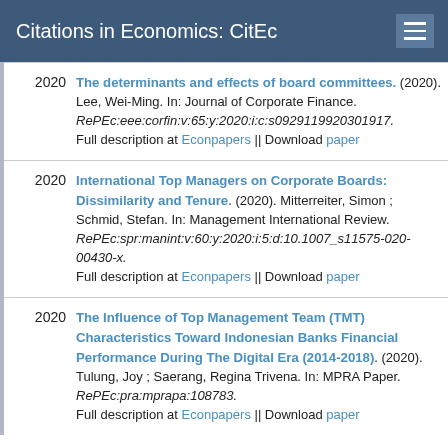Citations in Economics: CitEc
2020 The determinants and effects of board committees. (2020). Lee, Wei-Ming. In: Journal of Corporate Finance. RePEc:eee:corfin:v:65:y:2020:i:c:s0929119920301917. Full description at Econpapers || Download paper
2020 International Top Managers on Corporate Boards: Dissimilarity and Tenure. (2020). Mitterreiter, Simon ; Schmid, Stefan. In: Management International Review. RePEc:spr:manint:v:60:y:2020:i:5:d:10.1007_s11575-020-00430-x. Full description at Econpapers || Download paper
2020 The Influence of Top Management Team (TMT) Characteristics Toward Indonesian Banks Financial Performance During The Digital Era (2014-2018). (2020). Tulung, Joy ; Saerang, Regina Trivena. In: MPRA Paper. RePEc:pra:mprapa:108783. Full description at Econpapers || Download paper